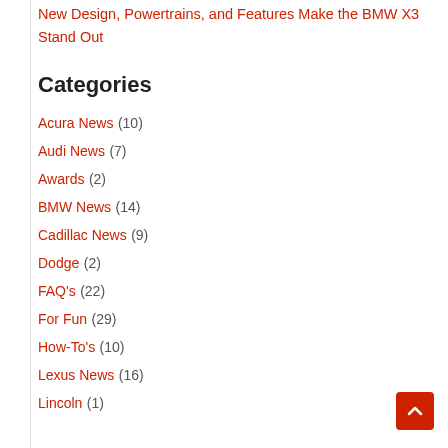New Design, Powertrains, and Features Make the BMW X3 Stand Out
Categories
Acura News (10)
Audi News (7)
Awards (2)
BMW News (14)
Cadillac News (9)
Dodge (2)
FAQ's (22)
For Fun (29)
How-To's (10)
Lexus News (16)
Lincoln (1)